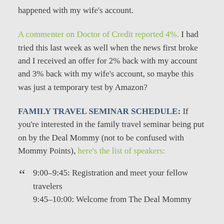happened with my wife's account.
A commenter on Doctor of Credit reported 4%. I had tried this last week as well when the news first broke and I received an offer for 2% back with my account and 3% back with my wife's account, so maybe this was just a temporary test by Amazon?
FAMILY TRAVEL SEMINAR SCHEDULE: If you're interested in the family travel seminar being put on by the Deal Mommy (not to be confused with Mommy Points), here's the list of speakers:
9:00–9:45: Registration and meet your fellow travelers
9:45–10:00: Welcome from The Deal Mommy